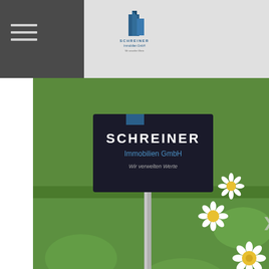Schreiner Immobilien GmbH
[Figure (photo): Outdoor photo of a Schreiner Immobilien GmbH real estate sign on a pole in a grassy field with white daisy flowers]
We use cookies on our website to give you the most relevant experience by remembering your preferences and repeat visits. By clicking “Accept”, you consent to the use of ALL the cookies.
Do not sell my personal information.
Einstellungen
Akzeptieren